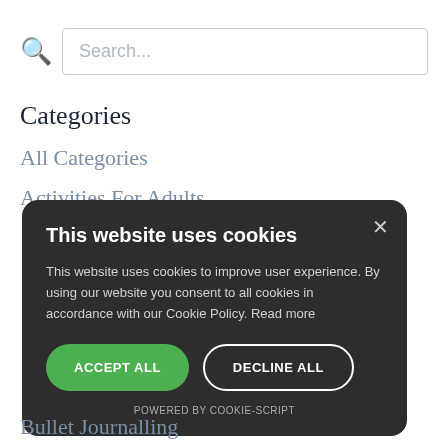[Figure (screenshot): Search bar with magnifying glass icon and placeholder text 'Search...']
Categories
All Categories
Activities For Adults
This website uses cookies

This website uses cookies to improve user experience. By using our website you consent to all cookies in accordance with our Cookie Policy. Read more

ACCEPT ALL   DECLINE ALL

POWERED BY COOKIE-SCRIPT
Bullet Journalling